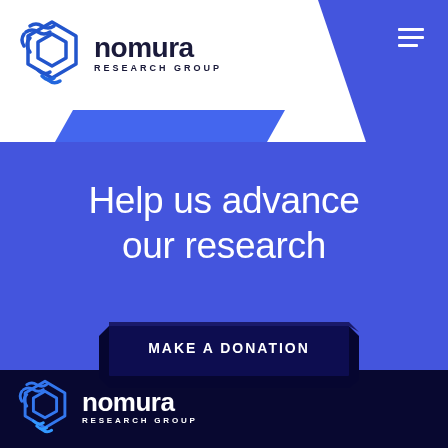[Figure (logo): Nomura Research Group logo with blue hexagonal icon and text in header]
Help us advance our research
MAKE A DONATION
[Figure (logo): Nomura Research Group logo in white on dark navy footer]